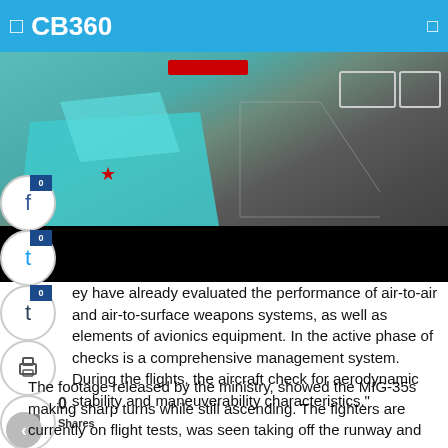CB360
[Figure (photo): Aerial view of aircraft on tarmac, with teal/blue aircraft visible and a red star marking, with a red banner overlay and black strip at bottom.]
ey have already evaluated the performance of air-to-air and air-to-surface weapons systems, as well as elements of avionics equipment. In the active phase of checks is a comprehensive management system. During the flights, the aircraft check for aerodynamic stability and maneuverability characteristics."
The footage released by the ministry, showed the MIG-35s making sharp turns while still ascending. The fighters are currently on flight tests, was seen taking off the runway and